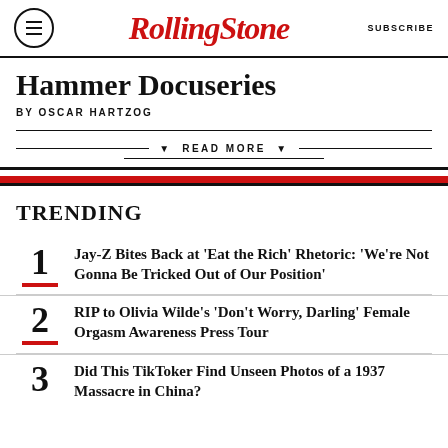RollingStone | SUBSCRIBE
Hammer Docuseries
BY OSCAR HARTZOG
▼ READ MORE ▼
TRENDING
1 Jay-Z Bites Back at 'Eat the Rich' Rhetoric: 'We're Not Gonna Be Tricked Out of Our Position'
2 RIP to Olivia Wilde's 'Don't Worry, Darling' Female Orgasm Awareness Press Tour
3 Did This TikToker Find Unseen Photos of a 1937 Massacre in China?